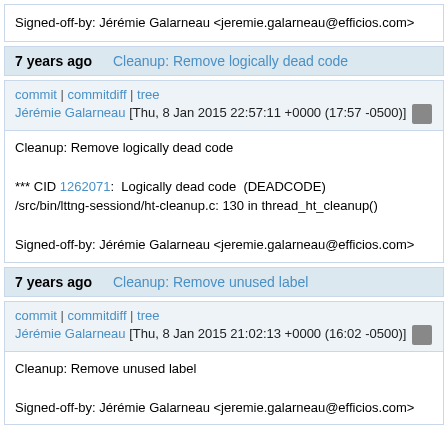Signed-off-by: Jérémie Galarneau <jeremie.galarneau@efficios.com>
7 years ago   Cleanup: Remove logically dead code
commit | commitdiff | tree
Jérémie Galarneau [Thu, 8 Jan 2015 22:57:11 +0000 (17:57 -0500)]
Cleanup: Remove logically dead code

*** CID 1262071:  Logically dead code  (DEADCODE)
/src/bin/lttng-sessiond/ht-cleanup.c: 130 in thread_ht_cleanup()

Signed-off-by: Jérémie Galarneau <jeremie.galarneau@efficios.com>
7 years ago   Cleanup: Remove unused label
commit | commitdiff | tree
Jérémie Galarneau [Thu, 8 Jan 2015 21:02:13 +0000 (16:02 -0500)]
Cleanup: Remove unused label

Signed-off-by: Jérémie Galarneau <jeremie.galarneau@efficios.com>